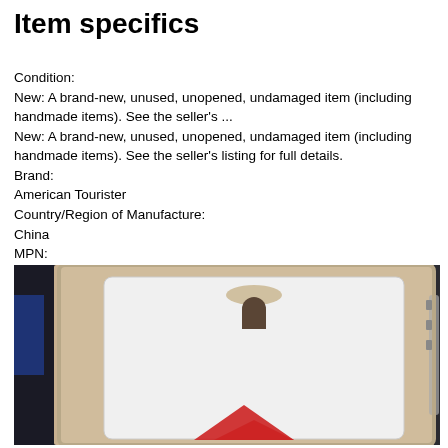Item specifics
Condition:
New: A brand-new, unused, unopened, undamaged item (including handmade items). See the seller's ...
New: A brand-new, unused, unopened, undamaged item (including handmade items). See the seller's listing for full details.
Brand:
American Tourister
Country/Region of Manufacture:
China
MPN:
AT96
UPC:
670223610258
[Figure (photo): Close-up photo of a plastic blister/clamshell retail packaging card for an American Tourister product. The packaging has a rounded rectangular white card inside a clear plastic shell with a hang tab cutout at the top center. Partial red diamond logo visible at bottom.]